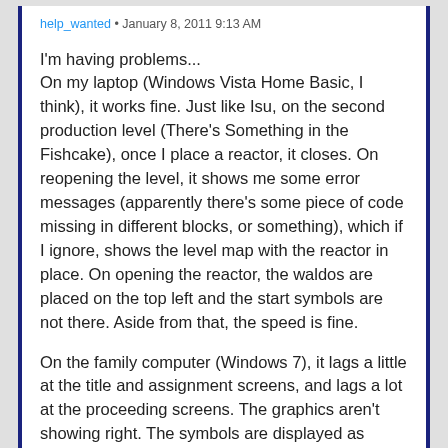help_wanted • January 8, 2011 9:13 AM
I'm having problems...
On my laptop (Windows Vista Home Basic, I think), it works fine. Just like Isu, on the second production level (There's Something in the Fishcake), once I place a reactor, it closes. On reopening the level, it shows me some error messages (apparently there's some piece of code missing in different blocks, or something), which if I ignore, shows the level map with the reactor in place. On opening the reactor, the waldos are placed on the top left and the start symbols are not there. Aside from that, the speed is fine.
On the family computer (Windows 7), it lags a little at the title and assignment screens, and lags a lot at the proceeding screens. The graphics aren't showing right. The symbols are displayed as squares sunken into the grid squares, and the grid squares display the